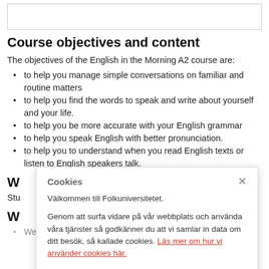[Figure (other): Empty bordered image box at top of page]
Course objectives and content
The objectives of the English in the Morning A2 course are:
to help you manage simple conversations on familiar and routine matters
to help you find the words to speak and write about yourself and your life.
to help you be more accurate with your English grammar
to help you speak English with better pronunciation.
to help you to understand when you read English texts or listen to English speakers talk.
W…
Stu… con… are…
W…
We work on all four skills in class but our focus is on verbal …
Cookies
Välkommen till Folkuniversitetet.
Genom att surfa vidare på vår webbplats och använda våra tjänster så godkänner du att vi samlar in data om ditt besök, så kallade cookies. Läs mer om hur vi använder cookies här.